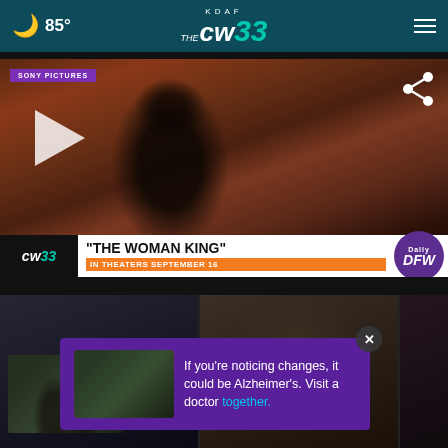🌙 85° | KDAF THE CW33 | ☰
[Figure (screenshot): Video thumbnail for 'The Woman King' movie. Shows a woman warrior in foreground with crowd behind her. Sony Pictures badge in top-left. Share icon top-right. Play button on left. Lower bar shows cw33 logo, movie title 'THE WOMAN KING', subtitle 'IN THEATERS SEPTEMBER 16', and DFW badge.]
"THE WOMAN KING"
IN THEATERS SEPTEMBER 16
[Figure (screenshot): Bottom thumbnail strip showing three partially visible video thumbnails. An ad overlay is present showing an Alzheimer's awareness ad: 'If you're noticing changes, it could be Alzheimer's. Visit a doctor together.' with a close button.]
If you're noticing changes, it could be Alzheimer's. Visit a doctor together.